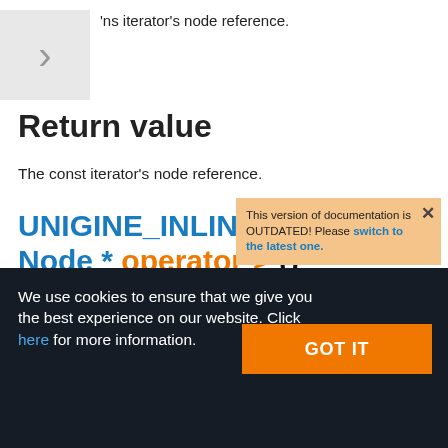'ns iterator's node reference.
Return value
The const iterator's node reference.
This version of documentation is OUTDATED! Please switch to the latest one.
UNIGINE_INLINE con Node * operator-> ()
We use cookies to ensure that we give you the best experience on our website. Click here for more information.
GOT IT